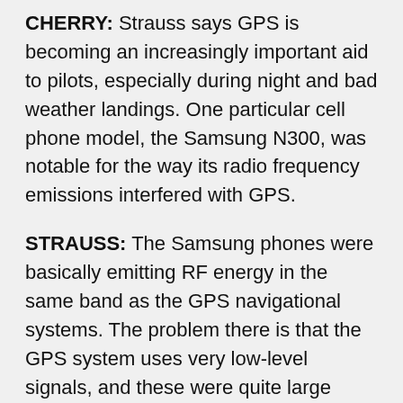CHERRY: Strauss says GPS is becoming an increasingly important aid to pilots, especially during night and bad weather landings. One particular cell phone model, the Samsung N300, was notable for the way its radio frequency emissions interfered with GPS.
STRAUSS: The Samsung phones were basically emitting RF energy in the same band as the GPS navigational systems. The problem there is that the GPS system uses very low-level signals, and these were quite large signals, essentially blinding the GPS onboard equipment. So any aircraft that's navigating using GPS navigation solely, or at least as a primary system, will have a very difficult time. Not so much of a concern at 30,000 feet when you're going coast to coast, but a big concern if you're using a GPS landing aid system and you're coming in on